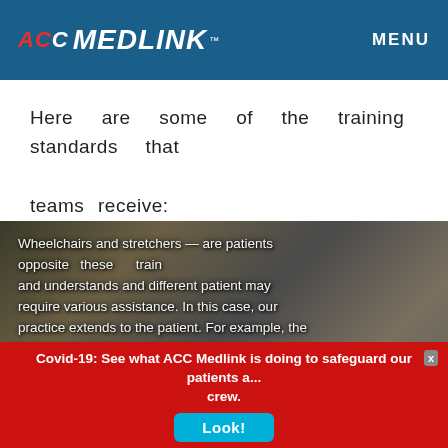ACC MEDLINK™  MENU
Here are some of the training standards that teams receive:
[Figure (photo): Photo of medical transport team loading a patient on a stretcher into a transport vehicle. Overlay text describes wheelchair and stretcher training standards including instructions to lock wheels, lie back on stretcher with legs touching ground and locked hips.]
Covid-19: See what ACC Medlink is doing to safeguard our patients and crew.
Look!